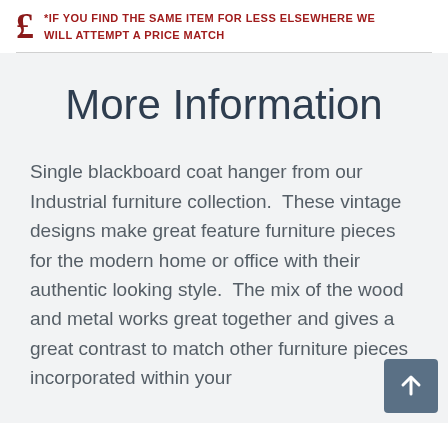*IF YOU FIND THE SAME ITEM FOR LESS ELSEWHERE WE WILL ATTEMPT A PRICE MATCH
More Information
Single blackboard coat hanger from our Industrial furniture collection.  These vintage designs make great feature furniture pieces for the modern home or office with their authentic looking style.  The mix of the wood and metal works great together and gives a great contrast to match other furniture pieces incorporated within your